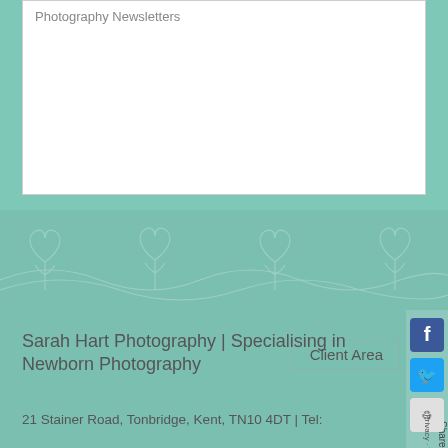Photography Newsletters
[Figure (other): Decorative teal banner with white floral/heart line art patterns]
Sarah Hart Photography | Specialising in Newborn Photography
Client Area
21 Stainer Road, Tonbridge, Kent, TN10 4DT | Tel: 01732 363897 | Mobile: 07722 087458
Email: sarah@sarahhartphotography.com
This website and the images featured within it are Copyright © Sarah Hart Photography and protected under UK and international law.
Terms & Conditions | Privacy Policy